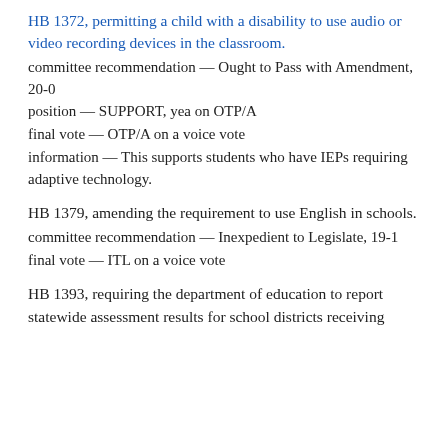HB 1372, permitting a child with a disability to use audio or video recording devices in the classroom.
committee recommendation — Ought to Pass with Amendment, 20-0
position — SUPPORT, yea on OTP/A
final vote — OTP/A on a voice vote
information — This supports students who have IEPs requiring adaptive technology.
HB 1379, amending the requirement to use English in schools.
committee recommendation — Inexpedient to Legislate, 19-1
final vote — ITL on a voice vote
HB 1393, requiring the department of education to report statewide assessment results for school districts receiving